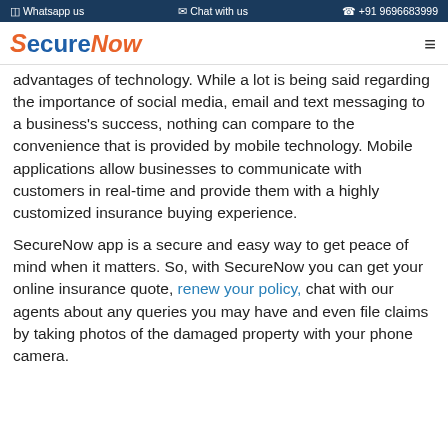Whatsapp us   Chat with us   +91 9696683999
[Figure (logo): SecureNow logo with blue 'Secure' and orange italic 'Now']
advantages of technology. While a lot is being said regarding the importance of social media, email and text messaging to a business's success, nothing can compare to the convenience that is provided by mobile technology. Mobile applications allow businesses to communicate with customers in real-time and provide them with a highly customized insurance buying experience.
SecureNow app is a secure and easy way to get peace of mind when it matters. So, with SecureNow you can get your online insurance quote, renew your policy, chat with our agents about any queries you may have and even file claims by taking photos of the damaged property with your phone camera.